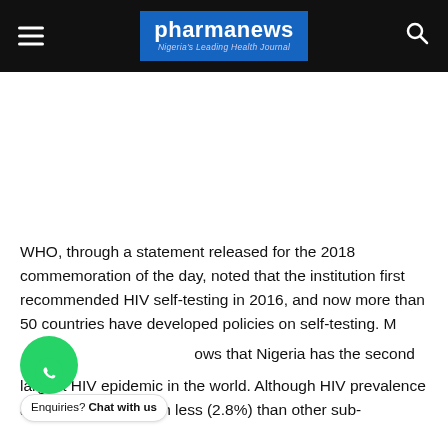pharmanews — Nigeria's Leading Health Journal
[Figure (other): Advertisement space (blank white area)]
WHO, through a statement released for the 2018 commemoration of the day, noted that the institution first recommended HIV self-testing in 2016, and now more than 50 countries have developed policies on self-testing. M[ore data] ows that Nigeria has the second largest HIV epidemic in the world. Although HIV prevalence among adults is much less (2.8%) than other sub-